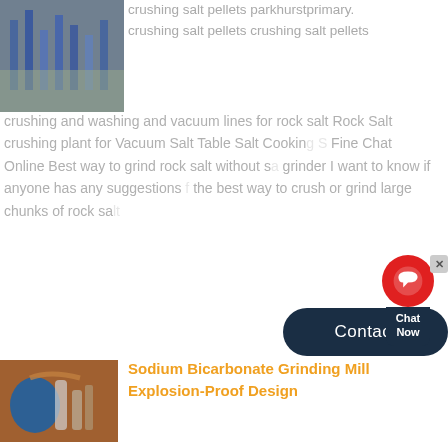[Figure (photo): Industrial crushing/mining equipment with blue metal framework]
crushing salt pellets parkhurstprimary. crushing salt pellets crushing salt pellets crushing and washing and vacuum lines for rock salt Rock Salt crushing plant for Vacuum Salt Table Salt Cooking Fine Chat Online Best way to grind rock salt without s grinder I want to know if anyone has any suggestions the best way to crush or grind large chunks of rock sa
[Figure (infographic): Chat Now widget with red circle icon and dark navy label]
[Figure (other): Contact button - dark navy rounded rectangle]
[Figure (photo): Industrial grinding mill equipment with blue machinery and pipes]
Sodium Bicarbonate Grinding Mill Explosion-Proof Design